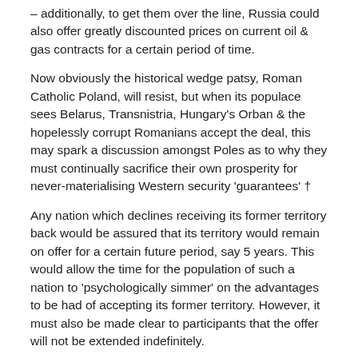– additionally, to get them over the line, Russia could also offer greatly discounted prices on current oil & gas contracts for a certain period of time.
Now obviously the historical wedge patsy, Roman Catholic Poland, will resist, but when its populace sees Belarus, Transnistria, Hungary's Orban & the hopelessly corrupt Romanians accept the deal, this may spark a discussion amongst Poles as to why they must continually sacrifice their own prosperity for never-materialising Western security 'guarantees' †
Any nation which declines receiving its former territory back would be assured that its territory would remain on offer for a certain future period, say 5 years. This would allow the time for the population of such a nation to 'psychologically simmer' on the advantages to be had of accepting its former territory. However, it must also be made clear to participants that the offer will not be extended indefinitely.
If successful, this would:
– restore historical justice;
– neutralise the territories from the current Russo-phobic,